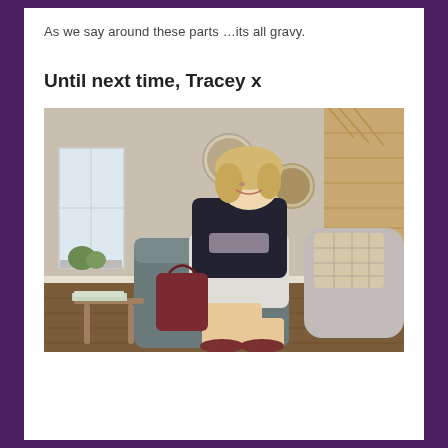As we say around these parts …its all gravy.
Until next time, Tracey x
[Figure (photo): A blonde woman wearing a dark jacket and light skirt sits on a grey chair, smiling and laughing. She holds a dark burgundy handbag. The room has a sofa with plaid cushions, round mirrors on the wall, and a wooden shelving unit in the background.]